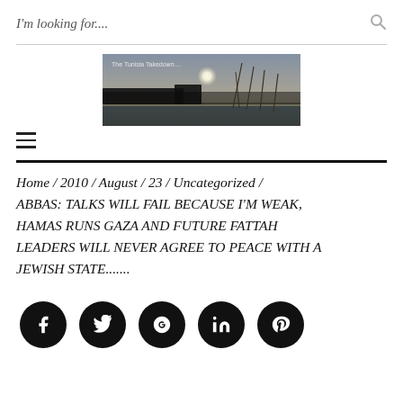I'm looking for....
[Figure (photo): Website header photo showing a winter lake landscape with silhouetted trees and a bright sun, overlaid with text 'The Tunisia Takedown....']
≡ (hamburger menu icon)
Home / 2010 / August / 23 / Uncategorized / ABBAS: TALKS WILL FAIL BECAUSE I'M WEAK, HAMAS RUNS GAZA AND FUTURE FATTAH LEADERS WILL NEVER AGREE TO PEACE WITH A JEWISH STATE.......
[Figure (infographic): Row of five social media share buttons (Facebook, Twitter, Google+, LinkedIn, Pinterest) as black circles with white icons]